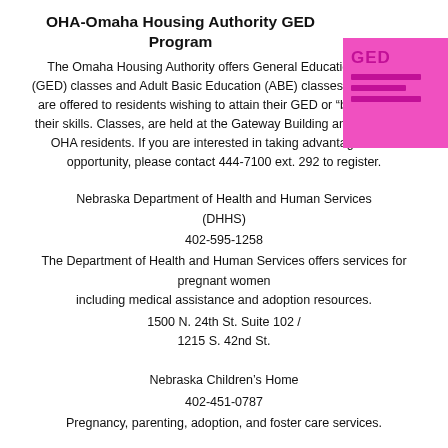OHA-Omaha Housing Authority GED Program
The Omaha Housing Authority offers General Education Degree (GED) classes and Adult Basic Education (ABE) classes. The classes are offered to residents wishing to attain their GED or “brush up” on their skills. Classes, are held at the Gateway Building and are free to OHA residents. If you are interested in taking advantage of this opportunity, please contact 444-7100 ext. 292 to register.
Nebraska Department of Health and Human Services (DHHS)
402-595-1258
The Department of Health and Human Services offers services for pregnant women including medical assistance and adoption resources.
1500 N. 24th St. Suite 102 / 1215 S. 42nd St.
Nebraska Children’s Home
402-451-0787
Pregnancy, parenting, adoption, and foster care services.